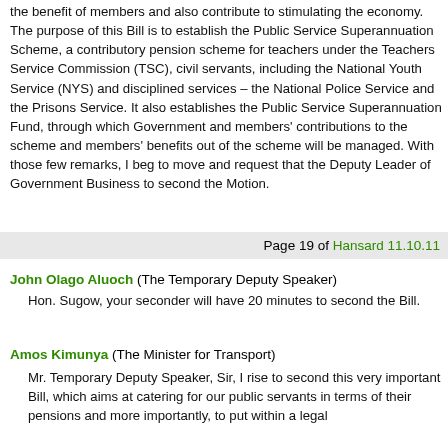the benefit of members and also contribute to stimulating the economy. The purpose of this Bill is to establish the Public Service Superannuation Scheme, a contributory pension scheme for teachers under the Teachers Service Commission (TSC), civil servants, including the National Youth Service (NYS) and disciplined services – the National Police Service and the Prisons Service. It also establishes the Public Service Superannuation Fund, through which Government and members' contributions to the scheme and members' benefits out of the scheme will be managed. With those few remarks, I beg to move and request that the Deputy Leader of Government Business to second the Motion.
Page 19 of Hansard 11.10.11
John Olago Aluoch (The Temporary Deputy Speaker)
Hon. Sugow, your seconder will have 20 minutes to second the Bill.
Amos Kimunya (The Minister for Transport)
Mr. Temporary Deputy Speaker, Sir, I rise to second this very important Bill, which aims at catering for our public servants in terms of their pensions and more importantly, to put within a legal